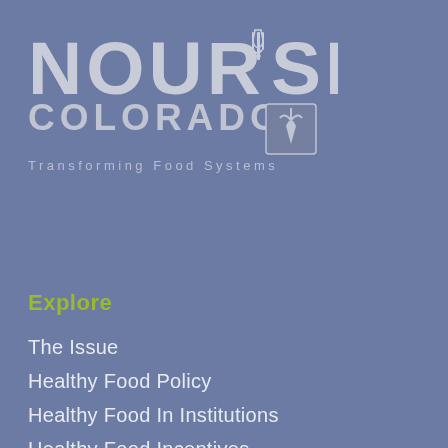[Figure (logo): Nourish Colorado logo with fork icon and carrot badge, text reads NOURISH COLORADO Transforming Food Systems]
Explore
The Issue
Healthy Food Policy
Healthy Food In Institutions
Healthy Food Incentives
Resources
Blog
Events